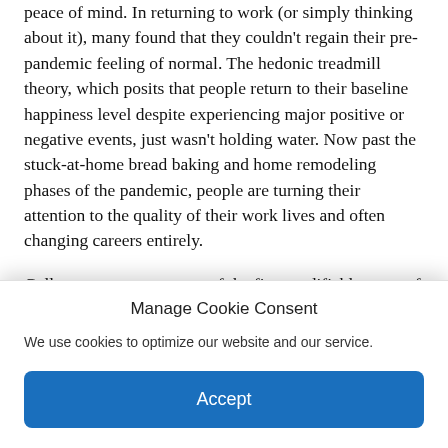peace of mind. In returning to work (or simply thinking about it), many found that they couldn't regain their pre-pandemic feeling of normal. The hedonic treadmill theory, which posits that people return to their baseline happiness level despite experiencing major positive or negative events, just wasn't holding water. Now past the stuck-at-home bread baking and home remodeling phases of the pandemic, people are turning their attention to the quality of their work lives and often changing careers entirely.
Gallup rates career as one of the five modifiable areas of wellbeing. And while most people would rank physical wellbeing as the most important, career wellbeing is more pervasive. Since we spend most of our waking hours working if career wellbeing is low the other four areas of wellbeing tank. Work stress leads to coping mechanisms that unwittingly result in poor health habits such as
Manage Cookie Consent
We use cookies to optimize our website and our service.
Accept